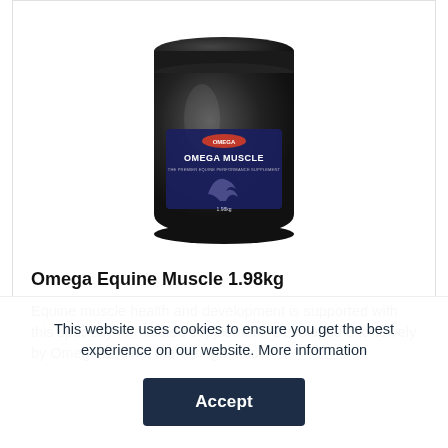[Figure (photo): A black cylindrical container/jar labeled 'Omega Muscle' with a horse illustration on the label, product size 1.98kg]
Omega Equine Muscle 1.98kg
Equine muscle health and development is supported with this specially formulated supplement. Developed exclusively by Omega Equine, the Omega Muscle...
This website uses cookies to ensure you get the best experience on our website. More information
Accept